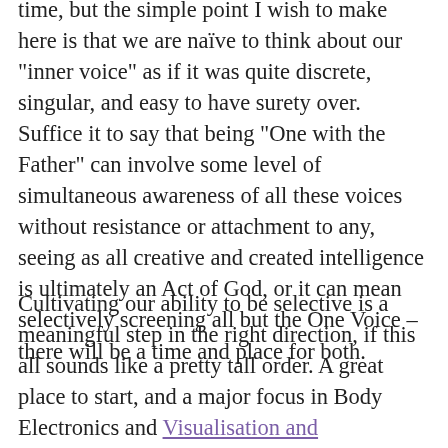time, but the simple point I wish to make here is that we are naïve to think about our "inner voice" as if it was quite discrete, singular, and easy to have surety over. Suffice it to say that being "One with the Father" can involve some level of simultaneous awareness of all these voices without resistance or attachment to any, seeing as all creative and created intelligence is ultimately an Act of God, or it can mean selectively screening all but the One Voice – there will be a time and place for both.
Cultivating our ability to be selective is a meaningful step in the right direction, if this all sounds like a pretty tall order. A great place to start, and a major focus in Body Electronics and Visualisation and Consciousness work, is clearing out the